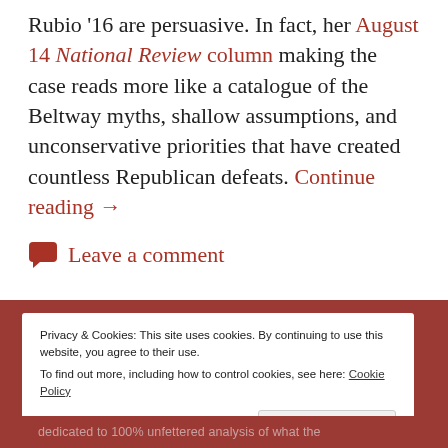Rubio '16 are persuasive. In fact, her August 14 National Review column making the case reads more like a catalogue of the Beltway myths, shallow assumptions, and unconservative priorities that have created countless Republican defeats. Continue reading →
Leave a comment
Privacy & Cookies: This site uses cookies. By continuing to use this website, you agree to their use.
To find out more, including how to control cookies, see here: Cookie Policy
Close and accept
dedicated to 100% unfettered analysis of what the